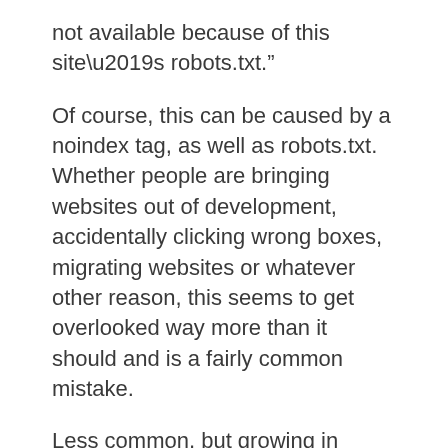not available because of this site’s robots.txt.”
Of course, this can be caused by a noindex tag, as well as robots.txt. Whether people are bringing websites out of development, accidentally clicking wrong boxes, migrating websites or whatever other reason, this seems to get overlooked way more than it should and is a fairly common mistake.
Less common, but growing in popularity, are various JavaScript frameworks like Angular and React where no content is rendered or pages indexed. For anyone whose company is starting to use these frameworks, I highly recommend reading through Adam Audette’s “We Tested How Googlebot Crawls Javascript And Here’s What We Learned” and Jody O’Donnell’s “What To Do When Google Can’t Understand Your JavaScript,” as well